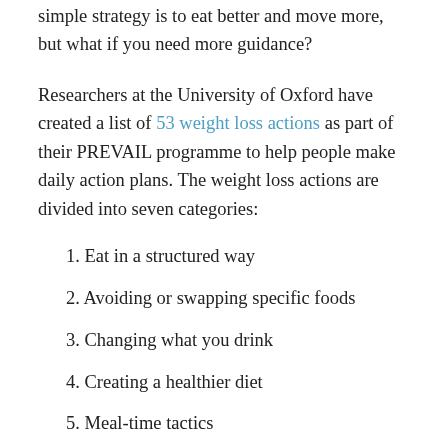simple strategy is to eat better and move more, but what if you need more guidance?
Researchers at the University of Oxford have created a list of 53 weight loss actions as part of their PREVAIL programme to help people make daily action plans. The weight loss actions are divided into seven categories:
1. Eat in a structured way
2. Avoiding or swapping specific foods
3. Changing what you drink
4. Creating a healthier diet
5. Meal-time tactics
6. Burn more calories
7. Be more active as part of your daily life